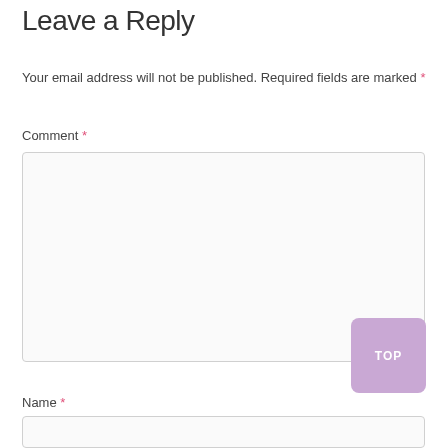Leave a Reply
Your email address will not be published. Required fields are marked *
Comment *
[Figure (other): Empty comment textarea input field with resize handle]
[Figure (other): Purple TOP button]
Name *
[Figure (other): Empty name input field]